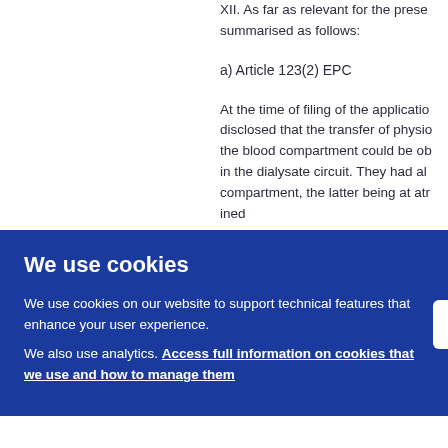XII. As far as relevant for the prese... summarised as follows:
a) Article 123(2) EPC
At the time of filing of the applicatio... disclosed that the transfer of physio... the blood compartment could be ob... in the dialysate circuit. They had al... compartment, the latter being at atr... ined... They... pheric... requ... ressi... as d... umn 8... d invo... in do...
We use cookies
We use cookies on our website to support technical features that enhance your user experience.
We also use analytics. Access full information on cookies that we use and how to manage them